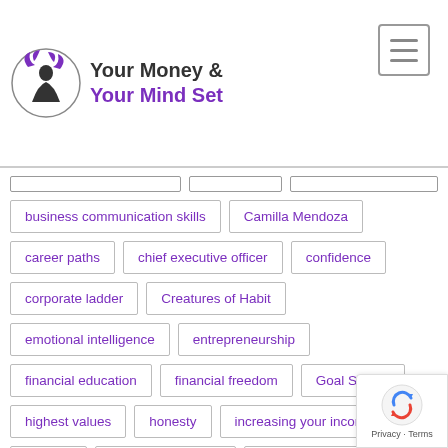Your Money & Your Mind Set
business communication skills
Camilla Mendoza
career paths
chief executive officer
confidence
corporate ladder
Creatures of Habit
emotional intelligence
entrepreneurship
financial education
financial freedom
Goal Setting
highest values
honesty
increasing your income
integrity
interpersonal skills
Janet Attwood
Kelly Falardeau
Law of Attraction
leadership
limitless wealth
Lorwai TAN
making business contacts
Mind Movies